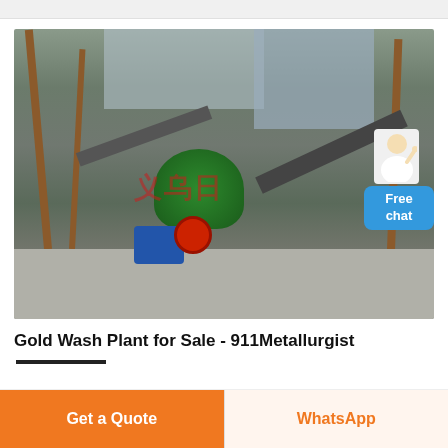[Figure (photo): Industrial gold wash plant facility showing conveyor belts, steel frame structures, a green spherical crusher/ball mill, blue electric motor, red wheel component, and concrete platform. Chinese watermark text overlaid. Background shows industrial buildings. A 'Free chat' customer service bubble appears in the upper right corner with a person icon and blue button.]
Gold Wash Plant for Sale - 911Metallurgist
Get a Quote
WhatsApp